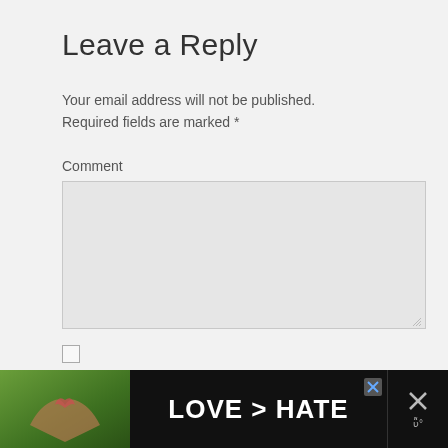Leave a Reply
Your email address will not be published. Required fields are marked *
Comment
[Figure (screenshot): Empty comment textarea input field with light gray background and resize handle]
[Figure (screenshot): Checkbox (unchecked) followed by label text: Notify me of followup comments via e-mail]
[Figure (photo): Ad banner at bottom: photo of hands making heart shape against green background, bold text LOVE > HATE on black background, close buttons on right side]